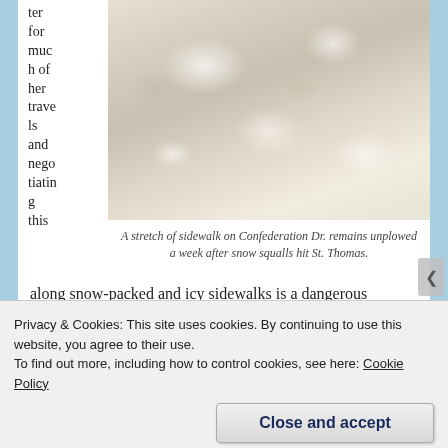ter for much of her travels and negotiating this along snow-packed and icy sidewalks is a dangerous challenge.
[Figure (photo): A stretch of snowy, icy sidewalk on Confederation Dr., unplowed, viewed from above showing packed snow and ice texture.]
A stretch of sidewalk on Confederation Dr. remains unplowed a week after snow squalls hit St. Thomas.
along snow-packed and icy sidewalks is a dangerous challenge.
Privacy & Cookies: This site uses cookies. By continuing to use this website, you agree to their use.
To find out more, including how to control cookies, see here: Cookie Policy
Close and accept